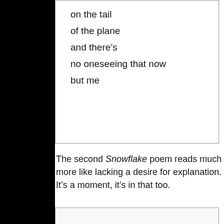on the tail
of the plane
and there's
no oneseeing that now
but me
The second Snowflake poem reads much more like lacking a desire for explanation. It's a moment, it's in that too.